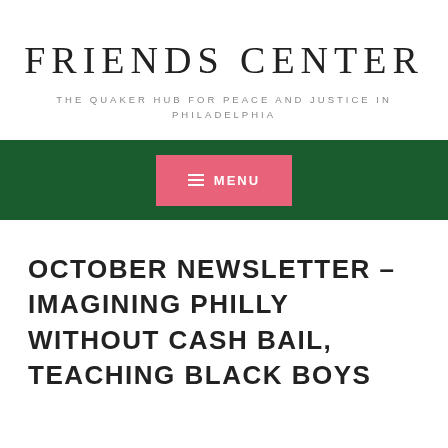FRIENDS CENTER
THE QUAKER HUB FOR PEACE AND JUSTICE IN PHILADELPHIA
[Figure (screenshot): Dark green navigation bar with a pink/salmon colored menu button in the center displaying a hamburger icon and the word MENU]
OCTOBER NEWSLETTER – IMAGINING PHILLY WITHOUT CASH BAIL, TEACHING BLACK BOYS